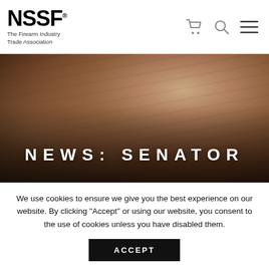NSSF® The Firearm Industry Trade Association
[Figure (photo): Close-up photo of hands typing on a laptop keyboard, with warm brown tones. Overlaid text reads NEWS: SENATOR in large white spaced uppercase letters.]
We use cookies to ensure we give you the best experience on our website. By clicking "Accept" or using our website, you consent to the use of cookies unless you have disabled them.
ACCEPT